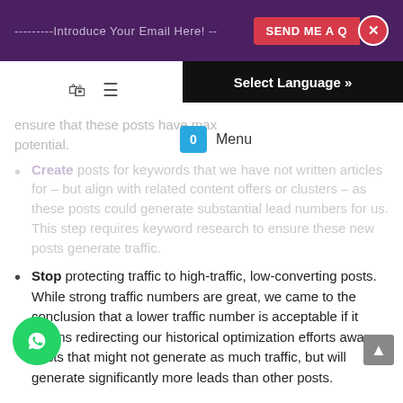---------Introduce Your Email Here! -- SEND ME A Q [x]  Select Language »
Create posts for keywords that we have not written articles for – but align with related content offers or clusters – as these posts could generate substantial lead numbers for us. This step requires keyword research to ensure these new posts generate traffic.
Stop protecting traffic to high-traffic, low-converting posts. While strong traffic numbers are great, we came to the conclusion that a lower traffic number is acceptable if it means redirecting our historical optimization efforts away posts that might not generate as much traffic, but will generate significantly more leads than other posts.